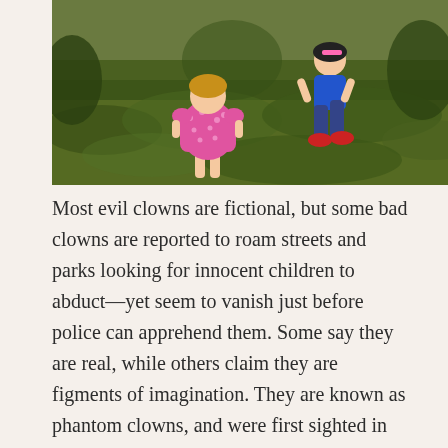[Figure (photo): Two children seen from behind outdoors on a grassy hillside. A young girl in a pink polka-dot dress stands on the left, and another child in colorful clothing is running on the right.]
Most evil clowns are fictional, but some bad clowns are reported to roam streets and parks looking for innocent children to abduct—yet seem to vanish just before police can apprehend them. Some say they are real, while others claim they are figments of imagination. They are known as phantom clowns, and were first sighted in 1981, when children in Boston reported that clowns had tried to lure them into a van with promises of candy. Other reports surfaced in other cities and in later years, with the same pattern: Parents were fearful, children were